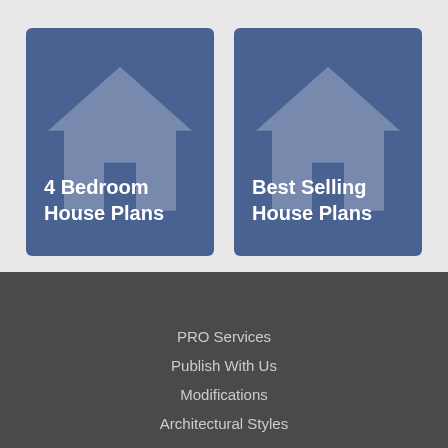[Figure (infographic): Two blue card tiles with house icons, labeled '4 Bedroom House Plans' and 'Best Selling House Plans']
PRO Services
Publish With Us
Modifications
Architectural Styles